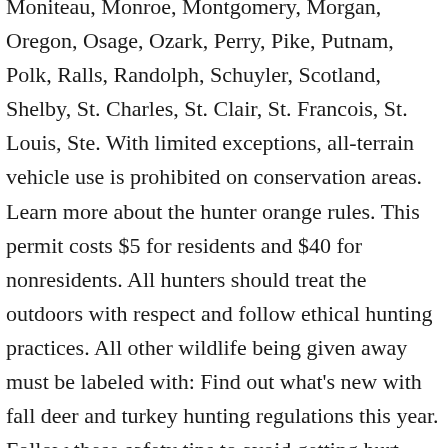Moniteau, Monroe, Montgomery, Morgan, Oregon, Osage, Ozark, Perry, Pike, Putnam, Polk, Ralls, Randolph, Schuyler, Scotland, Shelby, St. Charles, St. Clair, St. Francois, St. Louis, Ste. With limited exceptions, all-terrain vehicle use is prohibited on conservation areas. Learn more about the hunter orange rules. This permit costs $5 for residents and $40 for nonresidents. All hunters should treat the outdoors with respect and follow ethical hunting practices. All other wildlife being given away must be labeled with: Find out what's new with fall deer and turkey hunting regulations this year. Follow these safety tips to avoid getting hurt when you hunt from elevated tree stands. Protected deer include all antlered deer (defined as having at least one antler 3 inches or longer) that do not have a minimum of at least four points on one side. It is illegal to place a deer carcass or any of its parts into any well, spring, brook, branch, creek, stream, pond, or lake. You are hunting any species of game during firearms deer season. New! Some exceptions are